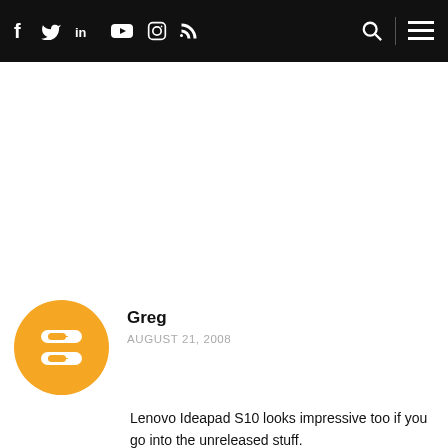f  ✓  in  ▶  ◯  ⊃  [search icon]  [menu icon]
[Figure (logo): Blogger orange round icon with B letter]
Greg
AUGUST 21, 2008
Lenovo Ideapad S10 looks impressive too if you go into the unreleased stuff.
MSI Wind (not the desktop version of course)